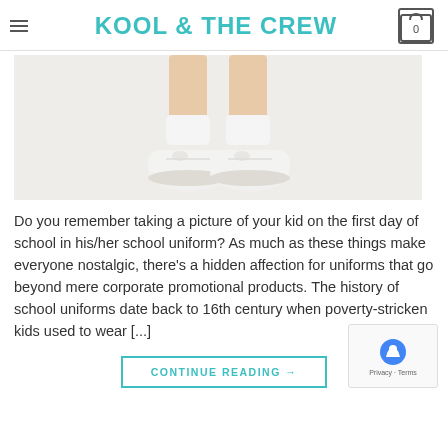KOOL & THE CREW
[Figure (photo): Close-up of legs wearing white sneakers and white socks on a light background]
Do you remember taking a picture of your kid on the first day of school in his/her school uniform? As much as these things make everyone nostalgic, there's a hidden affection for uniforms that go beyond mere corporate promotional products. The history of school uniforms date back to 16th century when poverty-stricken kids used to wear [...]
CONTINUE READING →